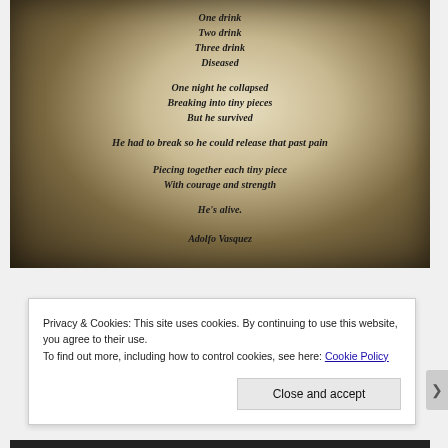[Figure (photo): A weathered, sepia-toned photograph showing a poem printed on paper with vignette darkening around the edges. The poem is by Adolfo Vasquez and reads: 'One drink / Two drink / Three drink / Diseased // One night he collapsed / Breaking into tiny pieces / But he survived // He had to break so he could release that past pain // Piecing together each tiny piece / With courage and strength // He's alive. // Adolfo Vasquez']
Privacy & Cookies: This site uses cookies. By continuing to use this website, you agree to their use.
To find out more, including how to control cookies, see here: Cookie Policy
Close and accept